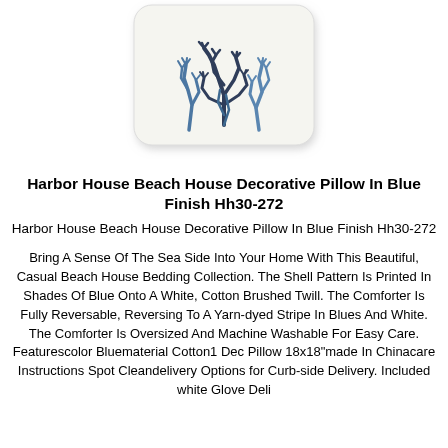[Figure (photo): A decorative throw pillow with a blue coral/seaweed pattern on a white background, shown at an angle]
Harbor House Beach House Decorative Pillow In Blue Finish Hh30-272
Harbor House Beach House Decorative Pillow In Blue Finish Hh30-272
Bring A Sense Of The Sea Side Into Your Home With This Beautiful, Casual Beach House Bedding Collection. The Shell Pattern Is Printed In Shades Of Blue Onto A White, Cotton Brushed Twill. The Comforter Is Fully Reversable, Reversing To A Yarn-dyed Stripe In Blues And White. The Comforter Is Oversized And Machine Washable For Easy Care. Featurescolor Bluematerial Cotton1 Dec Pillow 18x18"made In Chinacare Instructions Spot Cleandelivery Options for Curb-side Delivery. Included white Glove Delivery